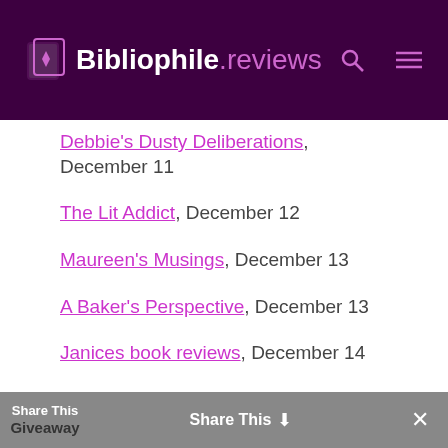Bibliophile.reviews
Debbie's Dusty Deliberations, December 11
The Lit Addict, December 12
Maureen's Musings, December 13
A Baker's Perspective, December 13
Janices book reviews, December 14
Share This  Giveaway  ✕